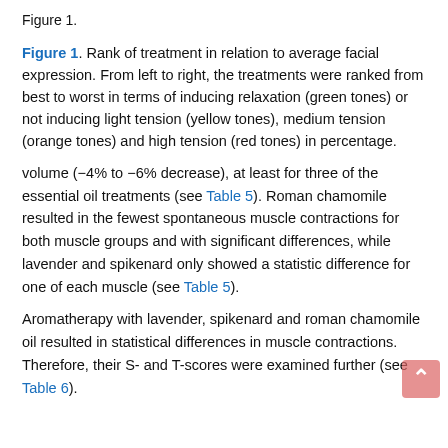Figure 1.
Figure 1. Rank of treatment in relation to average facial expression. From left to right, the treatments were ranked from best to worst in terms of inducing relaxation (green tones) or not inducing light tension (yellow tones), medium tension (orange tones) and high tension (red tones) in percentage.
volume (−4% to −6% decrease), at least for three of the essential oil treatments (see Table 5). Roman chamomile resulted in the fewest spontaneous muscle contractions for both muscle groups and with significant differences, while lavender and spikenard only showed a statistic difference for one of each muscle (see Table 5).
Aromatherapy with lavender, spikenard and roman chamomile oil resulted in statistical differences in muscle contractions. Therefore, their S- and T-scores were examined further (see Table 6).